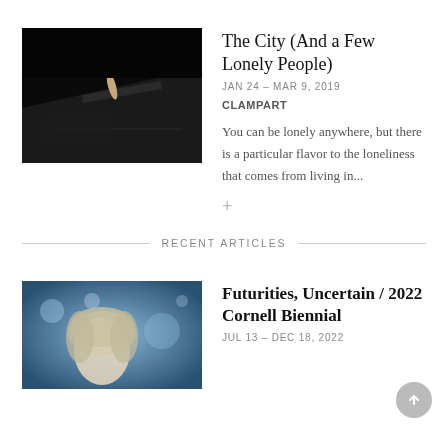[Figure (photo): Dark moody photograph of a small figurine or object lying on a flat surface with dramatic lighting]
The City (And a Few Lonely People)
JAN 24 – MAR 9, 2019
CLAMPART
You can be lonely anywhere, but there is a particular flavor to the loneliness that comes from living in...
+
RECENT ARTICLES
[Figure (photo): Blue-toned artistic photograph of a person with light hair against a blurred background with light orbs]
Futurities, Uncertain / 2022 Cornell Biennial
JUL 13 – DEC 18, 2022